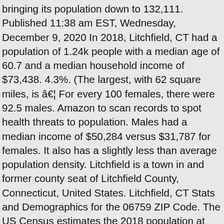bringing its population down to 132,111. Published 11:38 am EST, Wednesday, December 9, 2020 In 2018, Litchfield, CT had a population of 1.24k people with a median age of 60.7 and a median household income of $73,438. 4.3%. (The largest, with 62 square miles, is â€¦ For every 100 females, there were 92.5 males. Amazon to scan records to spot health threats to population. Males had a median income of $50,284 versus $31,787 for females. It also has a slightly less than average population density. Litchfield is a town in and former county seat of Litchfield County, Connecticut, United States. Litchfield, CT Stats and Demographics for the 06759 ZIP Code. The US Census estimates the 2018 population at 1,206. Stretched across a plateau edged with hills, Litchfield is 56 square miles, the seventh largest of the 169 cities and towns in Connecticut. Litchfield, CT Profile. Population of male led with no wife present: Population female led with no husband present: Population of homes with one or more people under 18 years: Households with no people under 18 years: Population of homes with one or more